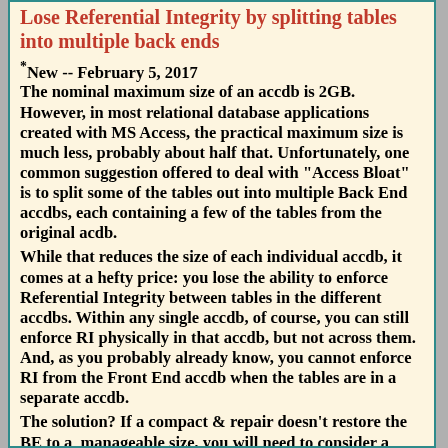Lose Referential Integrity by splitting tables into multiple back ends
*New -- February 5, 2017
The nominal maximum size of an accdb is 2GB. However, in most relational database applications created with MS Access, the practical maximum size is much less, probably about half that. Unfortunately, one common suggestion offered to deal with "Access Bloat" is to split some of the tables out into multiple Back End accdbs, each containing a few of the tables from the original acdb.
While that reduces the size of each individual accdb, it comes at a hefty price: you lose the ability to enforce Referential Integrity between tables in the different accdbs. Within any single accdb, of course, you can still enforce RI physically in that accdb, but not across them. And, as you probably already know, you cannot enforce RI from the Front End accdb when the tables are in a separate accdb.
The solution? If a compact & repair doesn't restore the BE to a  manageable size, you will need to consider a more robust Relational Database Management Server...